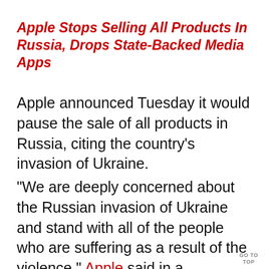Navigation bar with social media color segments
Apple Stops Selling All Products In Russia, Drops State-Backed Media Apps
Apple announced Tuesday it would pause the sale of all products in Russia, citing the country’s invasion of Ukraine.
“We are deeply concerned about the Russian invasion of Ukraine and stand with all of the people who are suffering as a result of the violence,” Apple said in a statement. “We are supporting humanitarian efforts, providing aid for
GO TO TOP